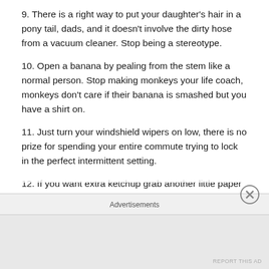9. There is a right way to put your daughter's hair in a pony tail, dads, and it doesn't involve the dirty hose from a vacuum cleaner. Stop being a stereotype.
10. Open a banana by pealing from the stem like a normal person. Stop making monkeys your life coach, monkeys don't care if their banana is smashed but you have a shirt on.
11. Just turn your windshield wipers on low, there is no prize for spending your entire commute trying to lock in the perfect intermittent setting.
12. If you want extra ketchup grab another little paper
Advertisements